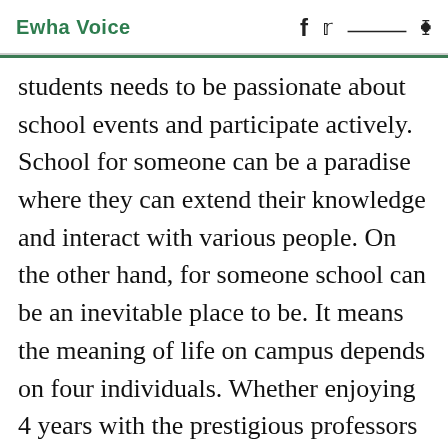Ewha Voice
students needs to be passionate about school events and participate actively. School for someone can be a paradise where they can extend their knowledge and interact with various people. On the other hand, for someone school can be an inevitable place to be. It means the meaning of life on campus depends on four individuals. Whether enjoying 4 years with the prestigious professors and brilliant friends on or wasting their time without making any accomplishment socially and psychologically. I hope Ewha students earn